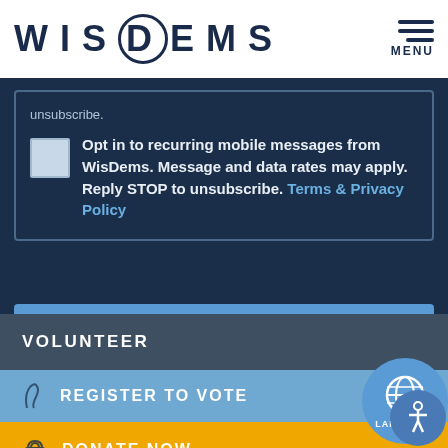WIS DEMS | MENU
unsubscribe.
Opt in to recurring mobile messages from WisDems. Message and data rates may apply. Reply STOP to unsubscribe. Terms & Privacy Policy
ADD YOUR NAME
VOLUNTEER
REGISTER TO VOTE
DONATE NOW
LANGUAGE